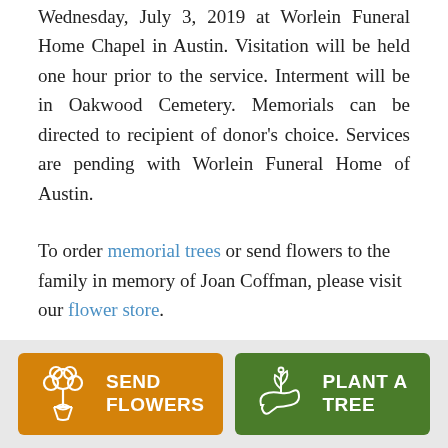Wednesday, July 3, 2019 at Worlein Funeral Home Chapel in Austin. Visitation will be held one hour prior to the service. Interment will be in Oakwood Cemetery. Memorials can be directed to recipient of donor's choice. Services are pending with Worlein Funeral Home of Austin.
To order memorial trees or send flowers to the family in memory of Joan Coffman, please visit our flower store.
[Figure (infographic): Two buttons at the bottom: an orange 'SEND FLOWERS' button with a bouquet icon, and a green 'PLANT A TREE' button with a hand-and-plant icon.]